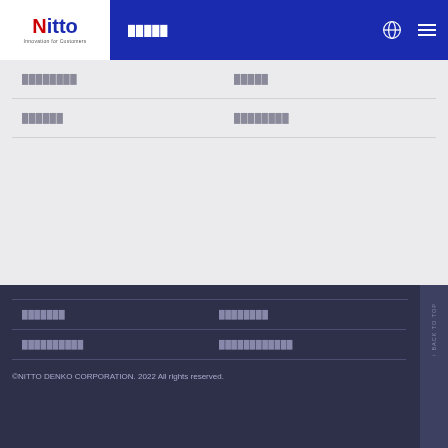Nitto | Innovation for Customers — Navigation
████████
█████
██████
████████
███████
████████
██████████
████████████
©NITTO DENKO CORPORATION. 2022 All rights reserved.